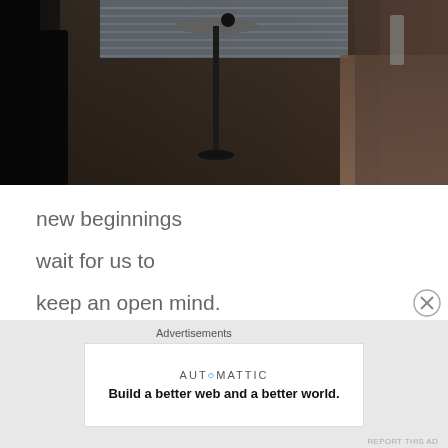[Figure (photo): Interior room scene showing a dark chair on the left, a pedestal table in the center near a window with blinds, and decorative items on the right side.]
new beginnings
wait for us to
keep an open mind.
they sit at the steps
until we squeeze past
Advertisements
[Figure (logo): Automattic advertisement: AUTOMATTIC logo with tagline 'Build a better web and a better world.']